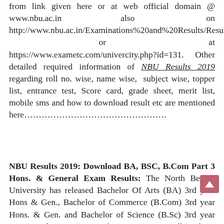from link given here or at web official domain @ www.nbu.ac.in also on http://www.nbu.ac.in/Examinations%20and%20Results/Results/Results.html or at https://www.exametc.com/univercity.php?id=131. Other detailed required information of NBU Results 2019 regarding roll no. wise, name wise, subject wise, topper list, entrance test, Score card, grade sheet, merit list, mobile sms and how to download result etc are mentioned here…………………………………………
NBU Results 2019: Download BA, BSC, B.Com Part 3 Hons. & General Exam Results: The North Bengal University has released Bachelor Of Arts (BA) 3rd year Hons & Gen., Bachelor of Commerce (B.Com) 3rd year Hons. & Gen. and Bachelor of Science (B.Sc) 3rd year exam result on 10.07.19 after 07.00 PM. All students who have appeared in May/ June Exams at University of North Bengal Siliguri for Graduate